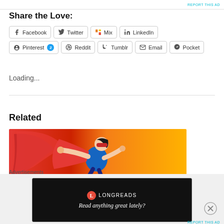REPORT THIS AD
Share the Love:
Facebook
Twitter
Mix
LinkedIn
Pinterest 2
Reddit
Tumblr
Email
Pocket
Loading...
Related
[Figure (photo): Superhero woman in red cape and blue shirt on orange background]
Advertisements
[Figure (screenshot): Longreads advertisement: Read anything great lately?]